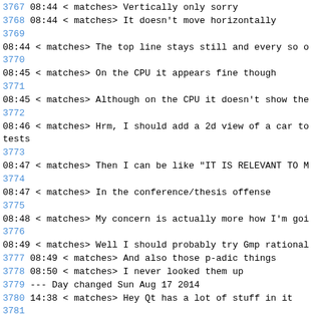3767 08:44 < matches> Vertically only sorry
3768 08:44 < matches> It doesn't move horizontally
3769
08:44 < matches> The top line stays still and every so o
3770
08:45 < matches> On the CPU it appears fine though
3771
08:45 < matches> Although on the CPU it doesn't show the
3772
08:46 < matches> Hrm, I should add a 2d view of a car to
tests
3773
08:47 < matches> Then I can be like "IT IS RELEVANT TO M
3774
08:47 < matches> In the conference/thesis offense
3775
08:48 < matches> My concern is actually more how I'm goi
3776
08:49 < matches> Well I should probably try Gmp rational
3777 08:49 < matches> And also those p-adic things
3778 08:50 < matches> I never looked them up
3779 --- Day changed Sun Aug 17 2014
3780 14:38 < matches> Hey Qt has a lot of stuff in it
3781
14:38 < matches> They have their own iostreams that seem